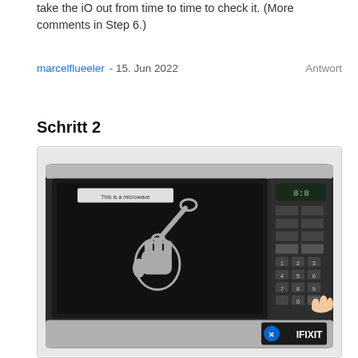take the iO out from time to time to check it. (More comments in Step 6.)
marcelflueeler - 15. Jun 2022    Antwort
Schritt 2
[Figure (photo): A microwave oven with a label 'This is a microwave' on the door. The door has an iFixit logo (wrench fist) decal. The right side has a control panel with buttons and a digital display. A hand is pressing a button in the lower right. The iFixit branding is visible in the bottom right corner.]